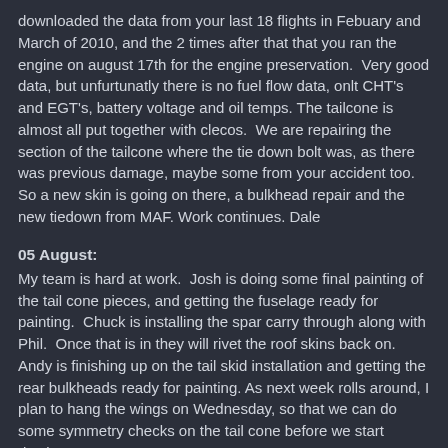downloaded the data from your last 18 flights in Febuary and March of 2010, and the 2 times after that that you ran the engine on august 17th for the engine preservation.  Very good data, but unfurtunatly there is no fuel flow data, onlt CHT's and EGT's, battery voltage and oil temps. The tailcone is almost all put together with clecos.  We are repairing the section of the tailcone where the tie down bolt was, as there was previous damage, maybe some from your accident too.  So a new skin is going on there, a bulkhead repair and the new tiedown from MAF. Work continues. Dale
05 August:
My team is hard at work.  Josh is doing some final painting of the tail cone pieces, and getting the fuselage ready for painting.  Chuck is installing the spar carry through along with Phil.  Once that is in they will rivet the roof skins back on.  Andy is finishing up on the tail skid installation and getting the rear bulkheads ready for painting. As next week rolls around, I plan to hang the wings on Wednesday, so that we can do some symmetry checks on the tail cone before we start riveting.
Posted at 10:31 PM